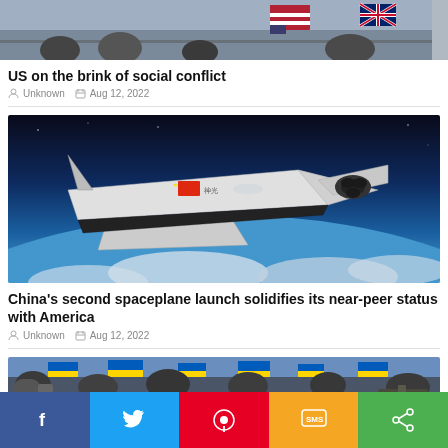[Figure (photo): Partial view of people holding American flags at a protest or rally, cropped at top]
US on the brink of social conflict
Unknown  Aug 12, 2022
[Figure (photo): Chinese spaceplane in orbit above Earth, white shuttle-like vehicle with Chinese flag markings against a blue Earth background]
China's second spaceplane launch solidifies its near-peer status with America
Unknown  Aug 12, 2022
[Figure (photo): Partial view of people holding yellow and blue Ukrainian flags at a rally, cropped at bottom]